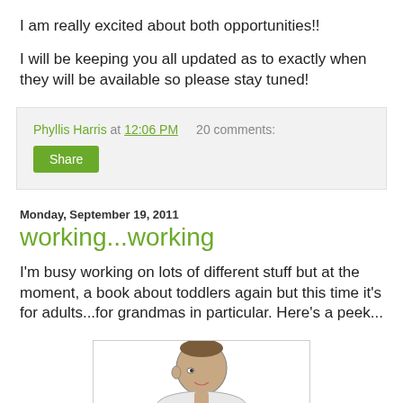I am really excited about both opportunities!!
I will be keeping you all updated as to exactly when they will be available so please stay tuned!
Phyllis Harris at 12:06 PM   20 comments:
Share
Monday, September 19, 2011
working...working
I'm busy working on lots of different stuff but at the moment, a book about toddlers again but this time it's for adults...for grandmas in particular. Here's a peek...
[Figure (illustration): Pencil sketch of a toddler/baby, partially visible at bottom of page]